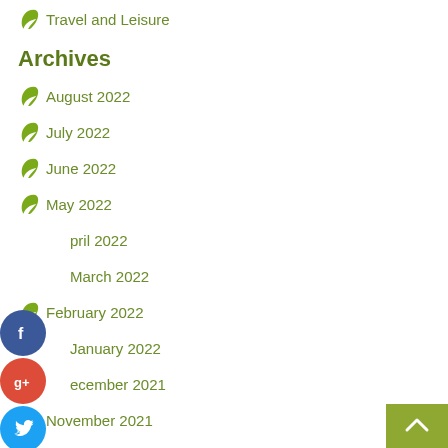Travel and Leisure
Archives
August 2022
July 2022
June 2022
May 2022
April 2022
March 2022
February 2022
January 2022
December 2021
November 2021
October 2021